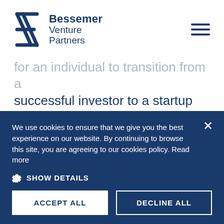[Figure (logo): Bessemer Venture Partners logo with diagonal lines icon and text]
for an individual to transition from a successful investor to a startup founder. Adam Dell is among the few to have carved such an unconventional path.
We use cookies to ensure that we give you the best experience on our website. By continuing to browse this site, you are agreeing to our cookies policy. Read more
SHOW DETAILS
ACCEPT ALL
DECLINE ALL